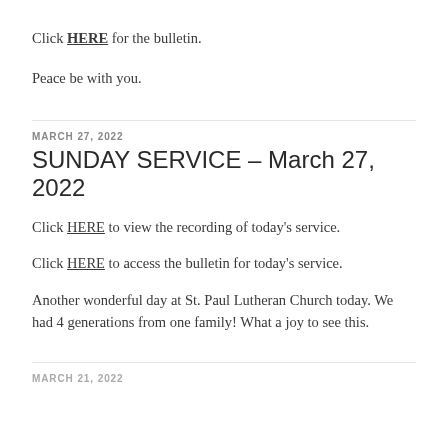Click HERE for the bulletin.
Peace be with you.
MARCH 27, 2022
SUNDAY SERVICE – March 27, 2022
Click HERE to view the recording of today's service.
Click HERE to access the bulletin for today's service.
Another wonderful day at St. Paul Lutheran Church today. We had 4 generations from one family! What a joy to see this.
MARCH 21, 2022